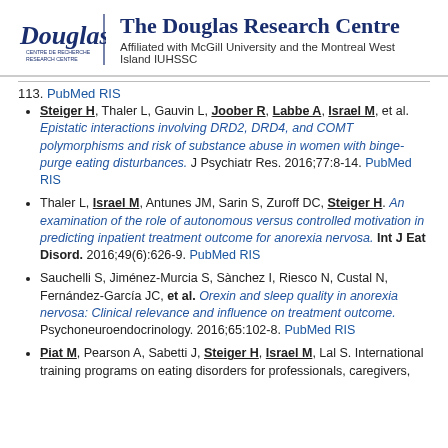The Douglas Research Centre
Affiliated with McGill University and the Montreal West Island IUHSSC
113. PubMed RIS
Steiger H, Thaler L, Gauvin L, Joober R, Labbe A, Israel M, et al. Epistatic interactions involving DRD2, DRD4, and COMT polymorphisms and risk of substance abuse in women with binge-purge eating disturbances. J Psychiatr Res. 2016;77:8-14. PubMed RIS
Thaler L, Israel M, Antunes JM, Sarin S, Zuroff DC, Steiger H. An examination of the role of autonomous versus controlled motivation in predicting inpatient treatment outcome for anorexia nervosa. Int J Eat Disord. 2016;49(6):626-9. PubMed RIS
Sauchelli S, Jiménez-Murcia S, Sànchez I, Riesco N, Custal N, Fernández-García JC, et al. Orexin and sleep quality in anorexia nervosa: Clinical relevance and influence on treatment outcome. Psychoneuroendocrinology. 2016;65:102-8. PubMed RIS
Piat M, Pearson A, Sabetti J, Steiger H, Israel M, Lal S. International training programs on eating disorders for professionals, caregivers,